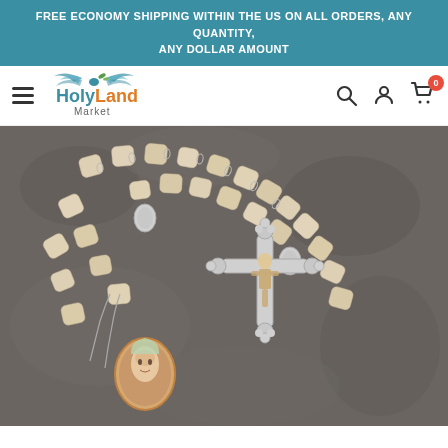FREE ECONOMY SHIPPING WITHIN THE US ON ALL ORDERS, ANY QUANTITY, ANY DOLLAR AMOUNT
[Figure (logo): HolyLand Market logo with stylized bird/wings above the text, 'Holy' in teal and 'Land' in orange, 'Market' subtitle below]
[Figure (photo): Close-up photograph of a Catholic rosary with rough beige/cream stone-like beads, a silver ornate crucifix, a round medal with an image of the Virgin Mary, laid on a dark leather surface.]